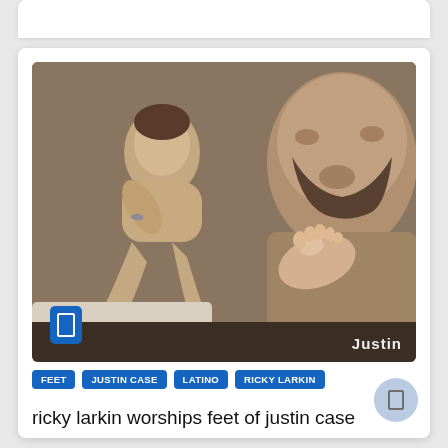[Figure (photo): A photo showing two men in an intimate scene involving feet, with a blue bookmark/save badge overlay in the lower left and a watermark reading 'Justin' in the lower right corner.]
FEET
JUSTIN CASE
LATINO
RICKY LARKIN
ricky larkin worships feet of justin case